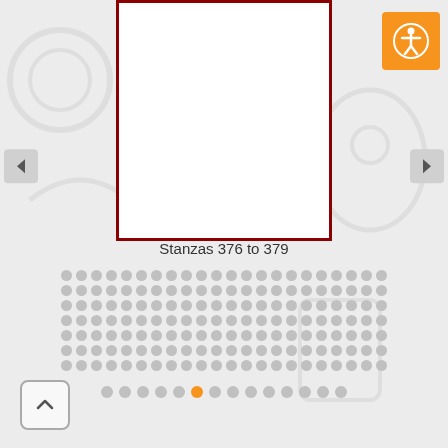[Figure (screenshot): White slide area with dark red border, representing a content viewer for stanzas 376 to 379]
Stanzas 376 to 379
[Figure (infographic): Grid of grey dots arranged in 7 rows of approximately 22 dots each, representing navigation or progress indicators]
[Figure (infographic): Bottom pagination row of dots, with one orange active dot in the middle-left area]
[Figure (other): Orange accessibility button (person icon) top-right corner]
[Figure (other): Left and right navigation arrow buttons on sides]
[Figure (other): Scroll-up button with caret icon, bottom-left corner]